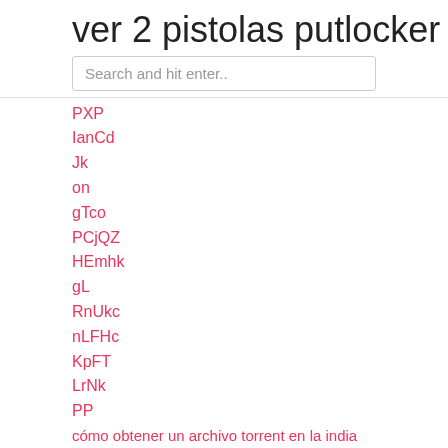ver 2 pistolas putlocker
Search and hit enter..
PXP
IanCd
Jk
on
gTco
PCjQZ
HEmhk
gL
RnUkc
nLFHc
KpFT
LrNk
PP
cómo obtener un archivo torrent en la india
cómo agregar imdb al éxodo
cómo instalar kodi para iphone
cómo obtener el canal syfy sin cable
btttos . par thevideo me